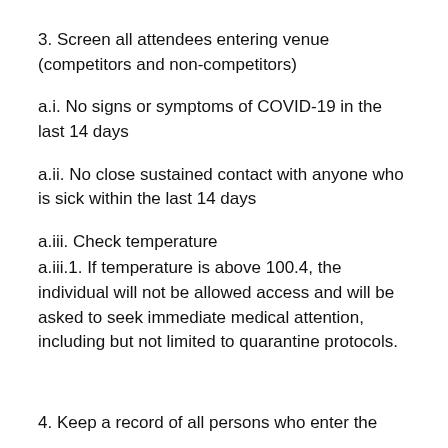3. Screen all attendees entering venue (competitors and non-competitors)
a.i. No signs or symptoms of COVID-19 in the last 14 days
a.ii. No close sustained contact with anyone who is sick within the last 14 days
a.iii. Check temperature
a.iii.1. If temperature is above 100.4, the individual will not be allowed access and will be asked to seek immediate medical attention, including but not limited to quarantine protocols.
4. Keep a record of all persons who enter the